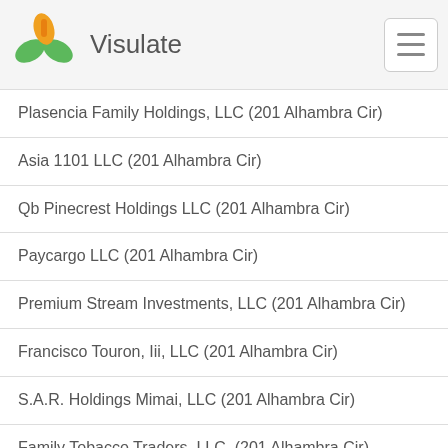Visulate
Plasencia Family Holdings, LLC (201 Alhambra Cir)
Asia 1101 LLC (201 Alhambra Cir)
Qb Pinecrest Holdings LLC (201 Alhambra Cir)
Paycargo LLC (201 Alhambra Cir)
Premium Stream Investments, LLC (201 Alhambra Cir)
Francisco Touron, Iii, LLC (201 Alhambra Cir)
S.A.R. Holdings Mimai, LLC (201 Alhambra Cir)
Family Tobacco Traders, LLC. (201 Alhambra Cir)
Advanced Bariatric Technology, LLC. (201 Alhambra Cir)
Gold Game, LLC (201 Alhambra Cir)